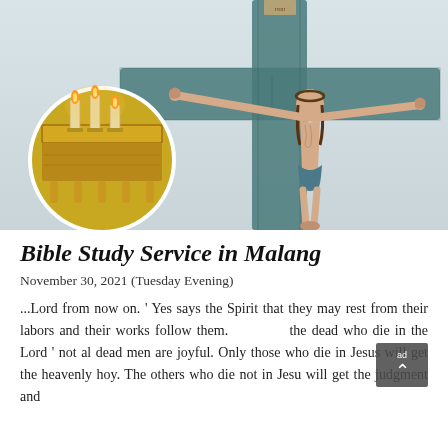[Figure (photo): Photograph of a crucifix with Jesus on a weathered teal/blue wooden cross against a light gray sky background, with a circular inset image of a golden altar/table with candles in the lower-left corner]
Bible Study Service in Malang
November 30, 2021 (Tuesday Evening)
... Lord from now on. ' Yes says the Spirit that they may rest from their labors and their works follow them. the dead who die in the Lord ' not al dead men are joyful. Only those who die in Jesus will get the heavenly hoy. The others who die not in Jesu will get the judgment and